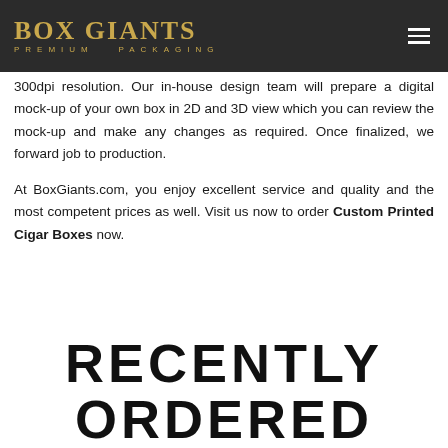BOX GIANTS PREMIUM PACKAGING
300dpi resolution. Our in-house design team will prepare a digital mock-up of your own box in 2D and 3D view which you can review the mock-up and make any changes as required. Once finalized, we forward job to production.
At BoxGiants.com, you enjoy excellent service and quality and the most competent prices as well. Visit us now to order Custom Printed Cigar Boxes now.
RECENTLY ORDERED